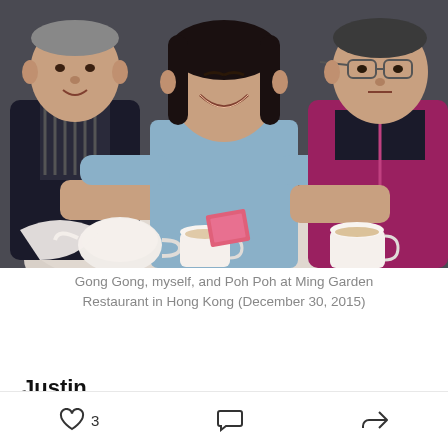[Figure (photo): Three people sitting at a round table in a restaurant. An elderly man on the left in a striped shirt, a younger woman in the center in a light blue top, and an elderly woman on the right in a pink/magenta zip-up jacket. Tea cups and a teapot are on the table.]
Gong Gong, myself, and Poh Poh at Ming Garden Restaurant in Hong Kong (December 30, 2015)
Justin
I didn't know Justin died six months ago. I found out
3 [like] [comment] [share]